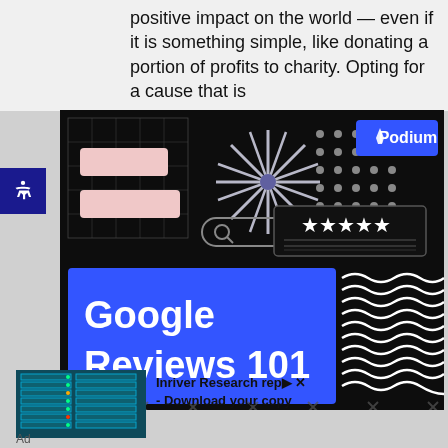positive impact on the world — even if it is something simple, like donating a portion of profits to charity. Opting for a cause that is
[Figure (illustration): Podium Google Reviews 101 promotional image on dark background with decorative elements: grid, starburst, dots, stars rating, search bar, wavy lines, and blue banner with white bold text 'Google Reviews 101']
[Figure (photo): Data center servers photo in teal/blue tones]
Inriver Research rep▶ ✕ - Download your copy
Ad